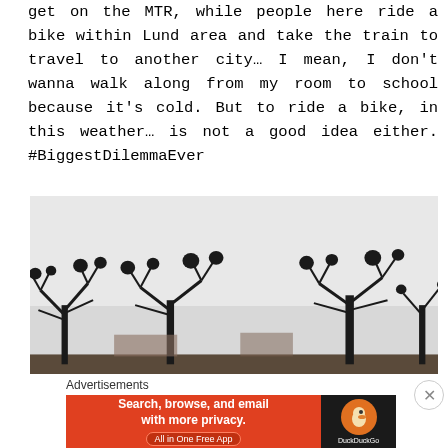get on the MTR, while people here ride a bike within Lund area and take the train to travel to another city… I mean, I don't wanna walk along from my room to school because it's cold. But to ride a bike, in this weather… is not a good idea either. #BiggestDilemmaEver
[Figure (photo): Outdoor winter photograph showing bare tree silhouettes against a pale grey overcast sky, with rooftops and a street sign visible in the background.]
Advertisements
[Figure (screenshot): DuckDuckGo advertisement banner with orange background. Left side reads 'Search, browse, and email with more privacy. All in One Free App'. Right side shows DuckDuckGo logo on dark background.]